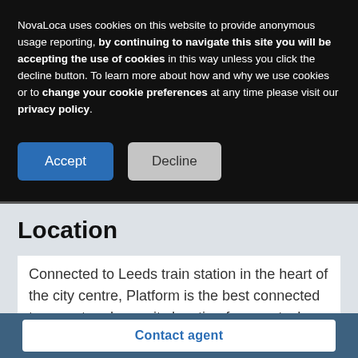NovaLoca uses cookies on this website to provide anonymous usage reporting, by continuing to navigate this site you will be accepting the use of cookies in this way unless you click the decline button. To learn more about how and why we use cookies or to change your cookie preferences at any time please visit our privacy policy.
[Figure (screenshot): Two buttons: Accept (blue) and Decline (grey)]
Location
Connected to Leeds train station in the heart of the city centre, Platform is the best connected transport and amenity location for your tech or digital business to be
Contact agent